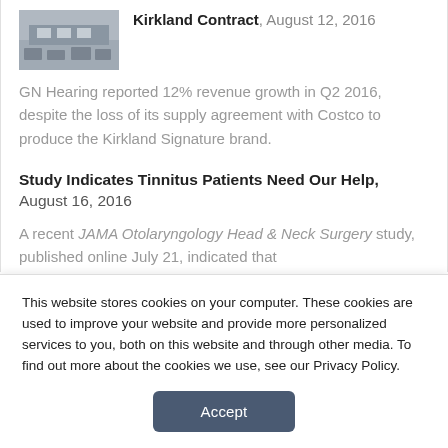[Figure (photo): Small thumbnail photo of a parking lot with cars and a building]
Kirkland Contract, August 12, 2016
GN Hearing reported 12% revenue growth in Q2 2016, despite the loss of its supply agreement with Costco to produce the Kirkland Signature brand.
Study Indicates Tinnitus Patients Need Our Help, August 16, 2016
A recent JAMA Otolaryngology Head & Neck Surgery study, published online July 21, indicated that
This website stores cookies on your computer. These cookies are used to improve your website and provide more personalized services to you, both on this website and through other media. To find out more about the cookies we use, see our Privacy Policy.